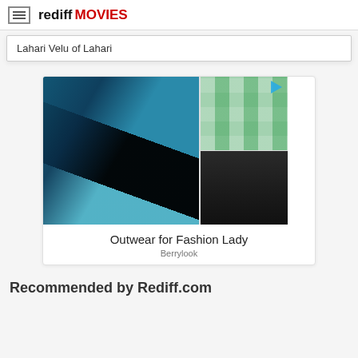rediff MOVIES
Lahari Velu of Lahari
[Figure (photo): Advertisement banner showing fashion clothing - a woman in a teal and black patterned dress (main image), a green plaid pullover (top right), and a black long-sleeve dress (bottom right). Text reads 'Outwear for Fashion Lady' by Berrylook.]
Outwear for Fashion Lady
Berrylook
Recommended by Rediff.com